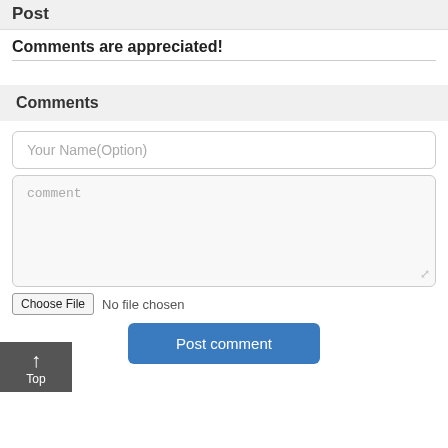Post
Comments are appreciated!
Comments
Your Name(Option)
comment
Choose File  No file chosen
Post comment
↑ Top